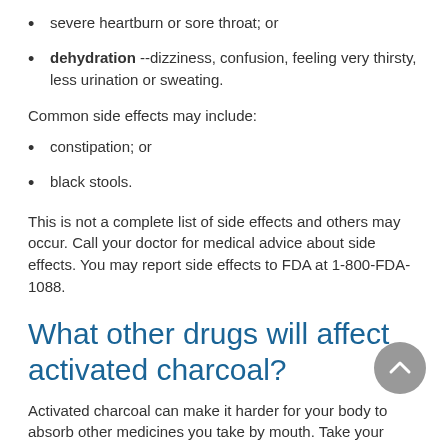severe heartburn or sore throat; or
dehydration --dizziness, confusion, feeling very thirsty, less urination or sweating.
Common side effects may include:
constipation; or
black stools.
This is not a complete list of side effects and others may occur. Call your doctor for medical advice about side effects. You may report side effects to FDA at 1-800-FDA-1088.
What other drugs will affect activated charcoal?
Activated charcoal can make it harder for your body to absorb other medicines you take by mouth. Take your activated charcoal dose at least 1 to 2 hours before or after taking other